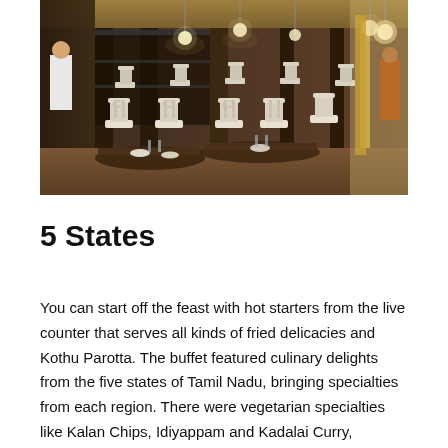[Figure (photo): Interior of an Indian restaurant named 5 States, showing ornate white wooden chairs around dark wooden dining tables, with pendant lights hanging from the ceiling, dark wood paneling and shelving, and a warm, elegant atmosphere.]
5 States
You can start off the feast with hot starters from the live counter that serves all kinds of fried delicacies and Kothu Parotta. The buffet featured culinary delights from the five states of Tamil Nadu, bringing specialties from each region. There were vegetarian specialties like Kalan Chips, Idiyappam and Kadalai Curry, Paalkatti Soya Paaya, Tomato